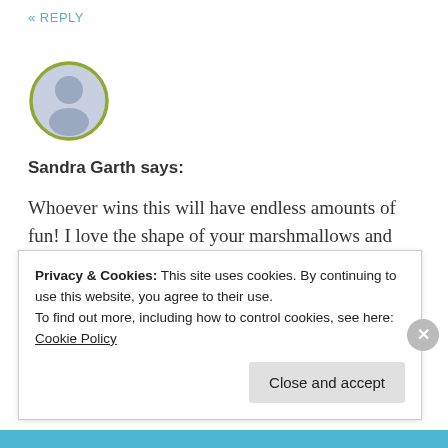« REPLY
[Figure (illustration): Circular avatar placeholder icon with green-olive border, showing a generic person silhouette in light blue-grey]
Sandra Garth says:
Whoever wins this will have endless amounts of fun! I love the shape of your marshmallows and your take on our American classic. Enjoy the heat I wish we had some here!
★ Like
Privacy & Cookies: This site uses cookies. By continuing to use this website, you agree to their use.
To find out more, including how to control cookies, see here:
Cookie Policy
Close and accept